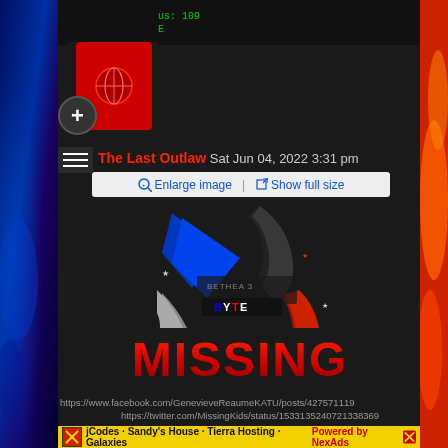The Last Outlaw  Sat Jun 04, 2022 3:31 pm
Enlarge image   Show full size
[Figure (illustration): Forum post image showing a 'MISSING' graphic with a stylized logo (BETHEA 3 BYTE) featuring blue, red, and silver angular design elements on dark background, with large red 'MISSING' text below]
https://www.facebook.com/GenevieveReaumeKATU/posts/427571119
https://twitter.com/MissingKids/status/1533135240721338369
jCodes · Sandy's House · Tierra Hosting · Galaxies    Powered by NexAds